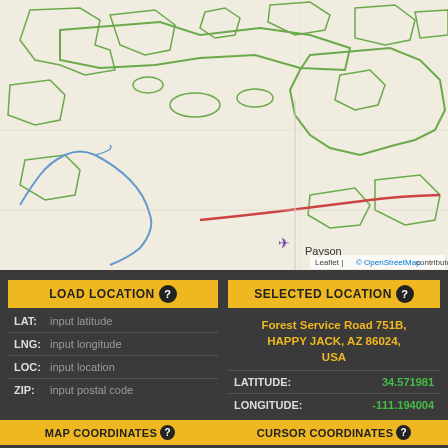[Figure (map): OpenStreetMap tile showing Payson Arizona area with green outlines for parks/forests, blue river lines, a red road, and a purple airplane marker at Payson. Map credit: Leaflet | © OpenStreetMap contributors.]
Leaflet | © OpenStreetMap contributors
| Field | Value |
| --- | --- |
| LOAD LOCATION |  |
| LAT: | input latitude |
| LNG: | input longitude |
| LOC: | input location |
| ZIP: | input postal code |
| Field | Value |
| --- | --- |
| SELECTED LOCATION |  |
| Address | Forest Service Road 751B, HAPPY JACK, AZ 86024, USA |
| LATITUDE: | 34.571981 |
| LONGITUDE: | -111.194004 |
| Field | Value |
| --- | --- |
| MAP COORDINATES |  |
| LATITUDE | 34.34194316... |
| Field | Value |
| --- | --- |
| CURSOR COORDINATES |  |
| LATITUDE | off |